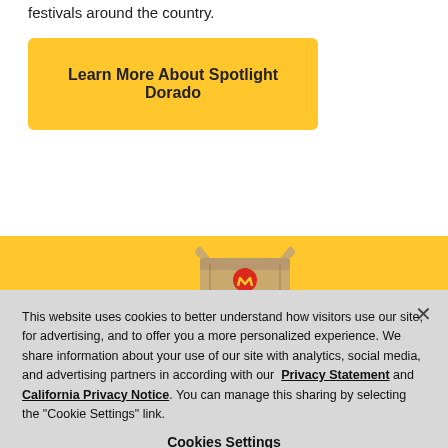festivals around the country.
Learn More About Spotlight Dorado
[Figure (photo): McDelivery brown paper bag with McDonald's red logo on a yellow background]
This website uses cookies to better understand how visitors use our site, for advertising, and to offer you a more personalized experience. We share information about your use of our site with analytics, social media, and advertising partners in according with our Privacy Statement and California Privacy Notice. You can manage this sharing by selecting the "Cookie Settings" link.
Cookies Settings